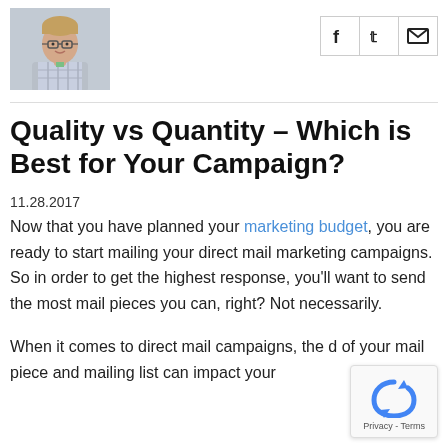[Figure (photo): Headshot of a man with glasses and light hair, wearing a plaid shirt]
[Figure (other): Three social media share icons (Facebook, Twitter, email) in bordered boxes]
Quality vs Quantity – Which is Best for Your Campaign?
11.28.2017
Now that you have planned your marketing budget, you are ready to start mailing your direct mail marketing campaigns. So in order to get the highest response, you'll want to send the most mail pieces you can, right? Not necessarily.
When it comes to direct mail campaigns, the d of your mail piece and mailing list can impact your